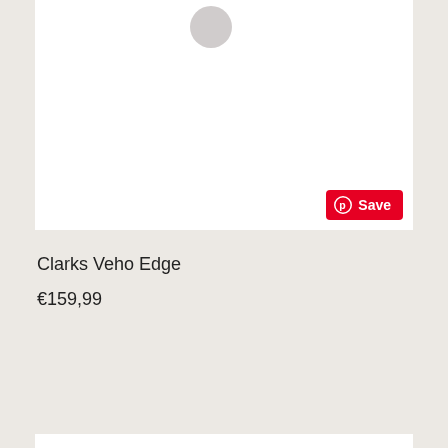[Figure (photo): Product image card with white background and a gray loading indicator circle near the top center. A red Pinterest Save button appears in the bottom-right corner of the card.]
Clarks Veho Edge
€159,99
[Figure (photo): Second product image card with white background showing multiple colored circles in a loading or color-swatch pattern: light gray, pink, dark pink/crimson, light gray, and deep red circles arranged diagonally.]